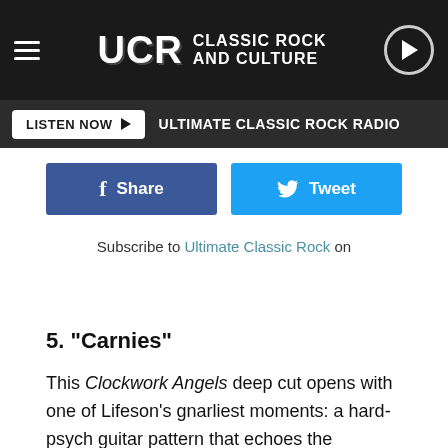UCR CLASSIC ROCK AND CULTURE
LISTEN NOW ▶ ULTIMATE CLASSIC ROCK RADIO
f Share   🐦 Tweet
Subscribe to Ultimate Classic Rock on
5. "Carnies"
This Clockwork Angels deep cut opens with one of Lifeson's gnarliest moments: a hard-psych guitar pattern that echoes the intensity of Soundgarden's "My Wave." (The guitarist had other reference points in mind: "I love the opening riff with the cool harmonics," he told Music Radar. 'It's got a little bit of Hendrix or Robin Trower.') Lee steers toward cleaner